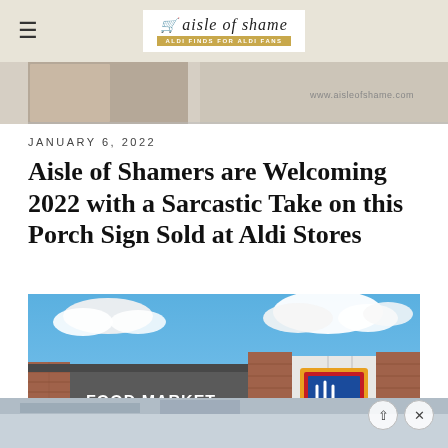Aisle of Shame — ALDI FINDS FOR ALDI FANS
[Figure (photo): Partial top image strip showing a photo with www.aisleofshame.com watermark]
JANUARY 6, 2022
Aisle of Shamers are Welcoming 2022 with a Sarcastic Take on this Porch Sign Sold at Aldi Stores
[Figure (photo): Exterior photo of an Aldi Food Market store with blue sky and clouds in background. The building shows brick columns, a dark gray facade with 'FOOD MARKET' text, and the Aldi logo sign with blue, red, and yellow colors.]